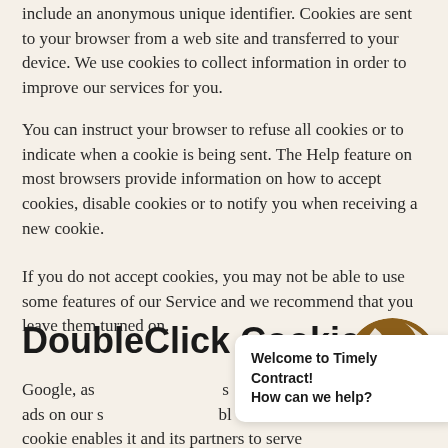include an anonymous unique identifier. Cookies are sent to your browser from a web site and transferred to your device. We use cookies to collect information in order to improve our services for you.
You can instruct your browser to refuse all cookies or to indicate when a cookie is being sent. The Help feature on most browsers provide information on how to accept cookies, disable cookies or to notify you when receiving a new cookie.
If you do not accept cookies, you may not be able to use some features of our Service and we recommend that you leave them turned on.
DoubleClick Cookie
Google, as an ad serving company, places DoubleClick cookie. ads on our s... bl... cookie enables it and its partners to serve ads to u...
Welcome to Timely Contract!
How can we help?